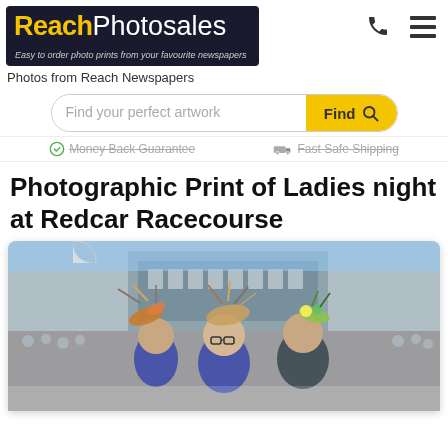ReachPhotosales — Easy to order photo prints from your favourite newspapers
Photos from Reach Newspapers
Find your perfect artwork — Find
Money Back Guarantee   Fast Safe Shipping
Photographic Print of Ladies night at Redcar Racecourse
[Figure (photo): Three women wearing elaborate fascinators/hats at Ladies Night at Redcar Racecourse, smiling at camera, with crowds and grandstand in background]